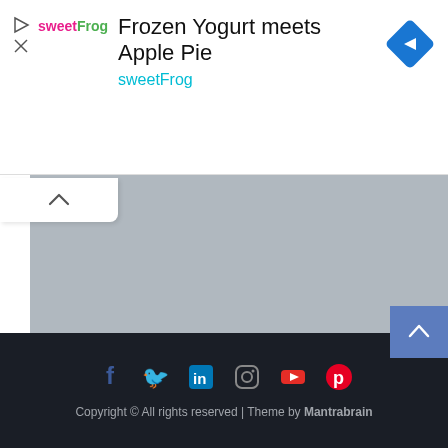[Figure (screenshot): sweetFrog advertisement banner with logo, title 'Frozen Yogurt meets Apple Pie', subtitle 'sweetFrog', and a blue navigation diamond icon]
[Figure (photo): Gray placeholder map or image area]
Giordano's Pizza Orlando Kissimmee
Copyright © All rights reserved | Theme by Mantrabrain